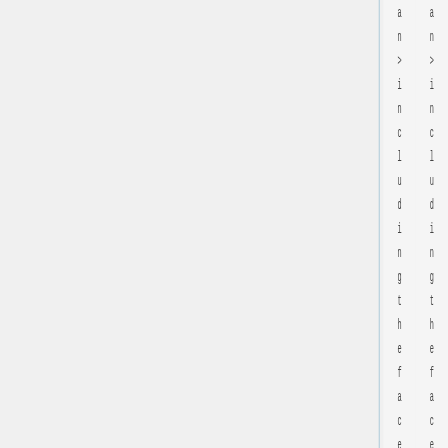an>includingthefacegu a
an>includingthefacegu a